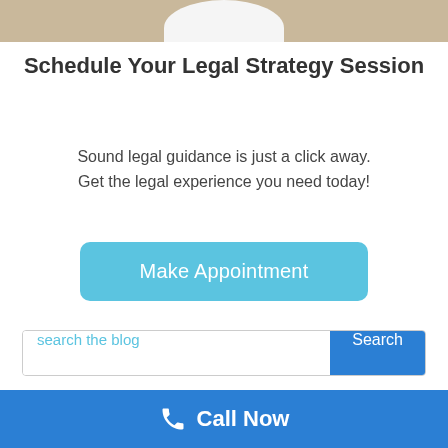[Figure (photo): Partial photo showing a person in a white shirt, cropped to show only the chest/shoulder area, with a warm background]
Schedule Your Legal Strategy Session
Sound legal guidance is just a click away. Get the legal experience you need today!
[Figure (other): Make Appointment button in light blue/cyan color with rounded corners]
search the blog
Meet David Soble
Call Now